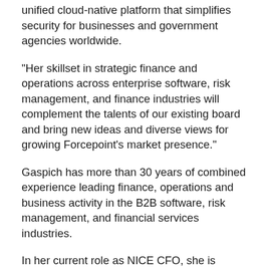unified cloud-native platform that simplifies security for businesses and government agencies worldwide.
"Her skillset in strategic finance and operations across enterprise software, risk management, and finance industries will complement the talents of our existing board and bring new ideas and diverse views for growing Forcepoint's market presence."
Gaspich has more than 30 years of combined experience leading finance, operations and business activity in the B2B software, risk management, and financial services industries.
In her current role as NICE CFO, she is responsible for all aspects of finance, investor relations, legal, and global operations, including purchasing and facilities as well as management information systems. During her tenure, she has helped NICE transform from an on-premises to a cloud-based business with 30% cloud growth.